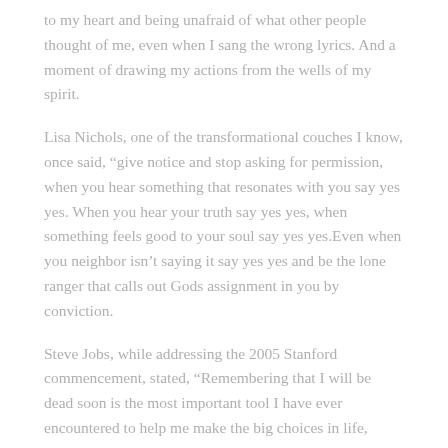to my heart and being unafraid of what other people thought of me, even when I sang the wrong lyrics. And a moment of drawing my actions from the wells of my spirit.
Lisa Nichols, one of the transformational couches I know, once said, “give notice and stop asking for permission, when you hear something that resonates with you say yes yes. When you hear your truth say yes yes, when something feels good to your soul say yes yes.Even when you neighbor isn’t saying it say yes yes and be the lone ranger that calls out Gods assignment in you by conviction.
Steve Jobs, while addressing the 2005 Stanford commencement, stated, “Remembering that I will be dead soon is the most important tool I have ever encountered to help me make the big choices in life,